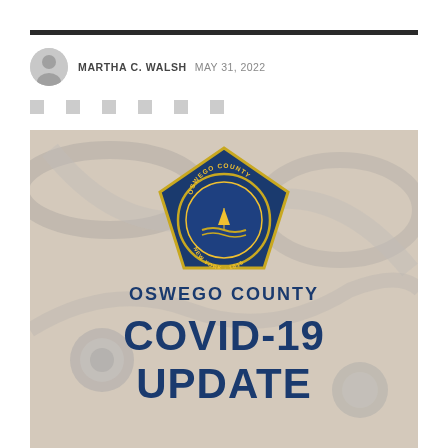MARTHA C. WALSH  MAY 31, 2022
[Figure (illustration): Oswego County COVID-19 Update graphic with stethoscope background, Oswego County seal (pentagon shape with blue and gold colors, showing sailboat and other imagery, text OSWEGO COUNTY NEW YORK 1816), text OSWEGO COUNTY above large bold text COVID-19 UPDATE in dark navy blue on faded background]
OSWEGO COUNTY COVID-19 UPDATE